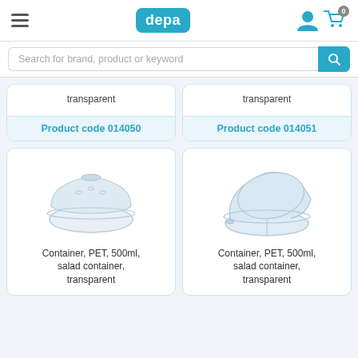depa
Search for brand, product or keyword
transparent
Product code 014050
transparent
Product code 014051
[Figure (photo): Clear transparent PET salad container with dome lid, 500ml]
Container, PET, 500ml, salad container, transparent
[Figure (photo): Clear transparent PET salad container with hinged oval lid, 500ml, shown open]
Container, PET, 500ml, salad container, transparent